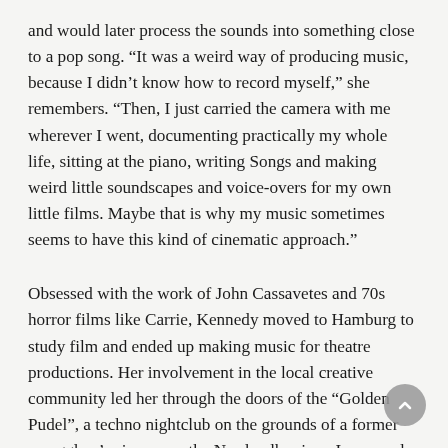and would later process the sounds into something close to a pop song. “It was a weird way of producing music, because I didn’t know how to record myself,” she remembers. “Then, I just carried the camera with me wherever I went, documenting practically my whole life, sitting at the piano, writing Songs and making weird little soundscapes and voice-overs for my own little films. Maybe that is why my music sometimes seems to have this kind of cinematic approach.”
Obsessed with the work of John Cassavetes and 70s horror films like Carrie, Kennedy moved to Hamburg to study film and ended up making music for theatre productions. Her involvement in the local creative community led her through the doors of the “Golden Pudel”, a techno nightclub on the grounds of a former smugglers’ prison near the Norderelbe river. Immersed in Hamburg’s dance music scene and a regular at the “Pudel”, she met Mense Reents, a musician best known for his work with the celebrated house act, Die Vögel. The